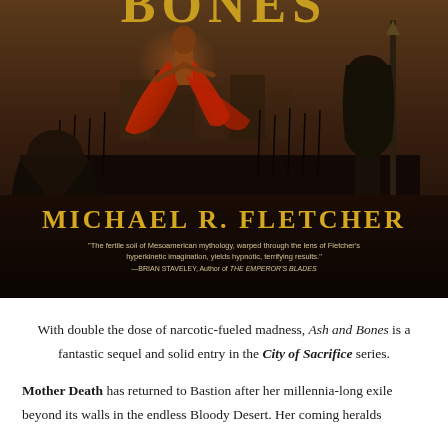[Figure (illustration): Book cover for 'Ash and Bones' by Michael R. Fletcher. Dark fantasy artwork showing a figure in a red cloak levitating or jumping, surrounded by armored warriors in a dark, dusty setting. Large gold text reads 'MICHAEL R. FLETCHER' and partial title letters visible at top. A blurb quote reads: 'The fertile soil of Mesoamerican mythology, warped through the lens of Fletcher's hyperkinetic imagination, yields hypnotic, terrifying results.' —BRIAN STAVELEY, Author of THE EMPEROR'S BLADES]
With double the dose of narcotic-fueled madness, Ash and Bones is a fantastic sequel and solid entry in the City of Sacrifice series.
Mother Death has returned to Bastion after her millennia-long exile beyond its walls in the endless Bloody Desert. Her coming heralds